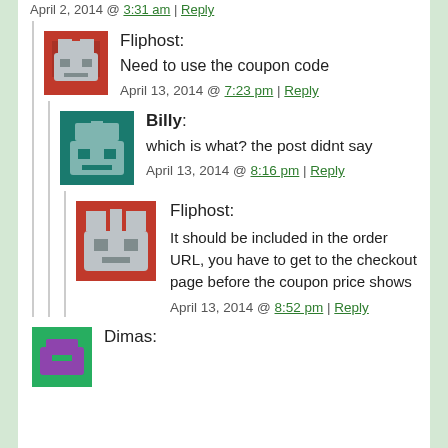April 2, 2014 @ 3:31 am | Reply
Fliphost: Need to use the coupon code
April 13, 2014 @ 7:23 pm | Reply
Billy: which is what? the post didnt say
April 13, 2014 @ 8:16 pm | Reply
Fliphost: It should be included in the order URL, you have to get to the checkout page before the coupon price shows
April 13, 2014 @ 8:52 pm | Reply
Dimas: